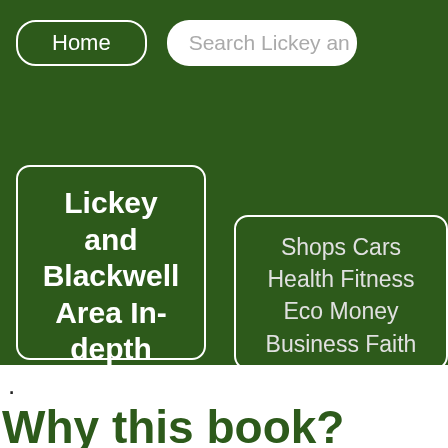Home | Search Lickey an
[Figure (screenshot): Navigation menu showing 'Lickey and Blackwell Area In-depth' dropdown and sub-menu with 'Shops Cars Health Fitness Eco Money Business Faith']
.
Why this book?